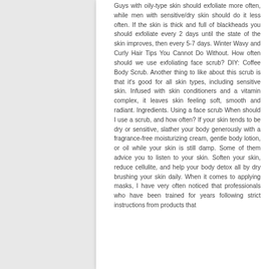Guys with oily-type skin should exfoliate more often, while men with sensitive/dry skin should do it less often. If the skin is thick and full of blackheads you should exfoliate every 2 days until the state of the skin improves, then every 5-7 days. Winter Wavy and Curly Hair Tips You Cannot Do Without. How often should we use exfoliating face scrub? DIY: Coffee Body Scrub. Another thing to like about this scrub is that it's good for all skin types, including sensitive skin. Infused with skin conditioners and a vitamin complex, it leaves skin feeling soft, smooth and radiant. Ingredients. Using a face scrub When should I use a scrub, and how often? If your skin tends to be dry or sensitive, slather your body generously with a fragrance-free moisturizing cream, gentle body lotion, or oil while your skin is still damp. Some of them advice you to listen to your skin. Soften your skin, reduce cellulite, and help your body detox all by dry brushing your skin daily. When it comes to applying masks, I have very often noticed that professionals who have been trained for years following strict instructions from products that